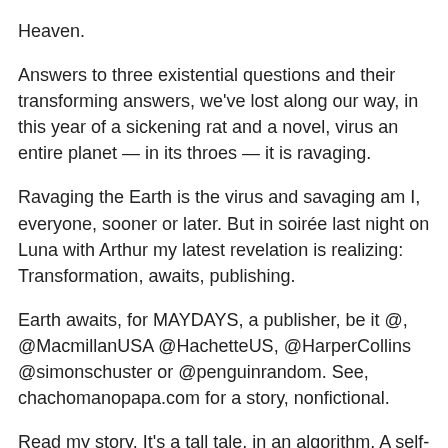Heaven.
Answers to three existential questions and their transforming answers, we've lost along our way, in this year of a sickening rat and a novel, virus an entire planet — in its throes — it is ravaging.
Ravaging the Earth is the virus and savaging am I, everyone, sooner or later. But in soirée last night on Luna with Arthur my latest revelation is realizing: Transformation, awaits, publishing.
Earth awaits, for MAYDAYS, a publisher, be it @, @MacmillanUSA @HachetteUS, @HarperCollins @simonschuster or @penguinrandom. See, chachomanopapa.com for a story, nonfictional.
Read my story. It's a tall tale, in an algorithm. A self-help